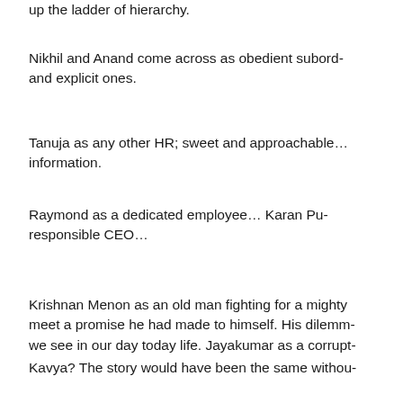up the ladder of hierarchy.
Nikhil and Anand come across as obedient subordinates following both implicit and explicit ones.
Tanuja as any other HR; sweet and approachable… but good at extracting information.
Raymond as a dedicated employee… Karan Pu… responsible CEO…
Krishnan Menon as an old man fighting for a mighty cause, just to meet a promise he had made to himself. His dilemma is something we see in our day today life. Jayakumar as a corrupt…
Kavya? The story would have been the same without…
What makes this tale interesting is the plot. It is different from other IIM graduates… It is doesn't carries clichés (Except…